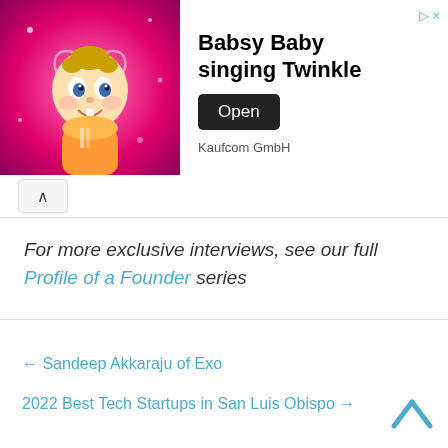[Figure (screenshot): Advertisement banner for 'Babsy Baby singing Twinkle' app by Kaufcom GmbH, showing a cartoon baby on a pink background with an 'Open' button.]
For more exclusive interviews, see our full Profile of a Founder series
← Sandeep Akkaraju of Exo
2022 Best Tech Startups in San Luis Obispo →